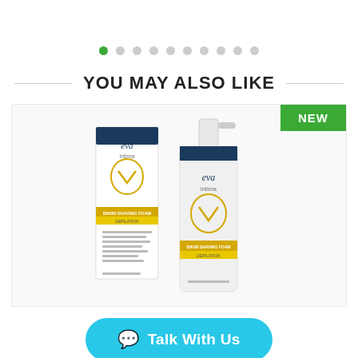[Figure (infographic): Horizontal dot navigation row with 10 dots, first dot is green (active), rest are gray]
YOU MAY ALSO LIKE
[Figure (photo): Eva Intima Bikini Shaving Foam product photo showing a white box and white pump bottle with yellow accents and 'eva intima' branding. A green NEW badge appears in the top right corner of the card.]
Talk With Us